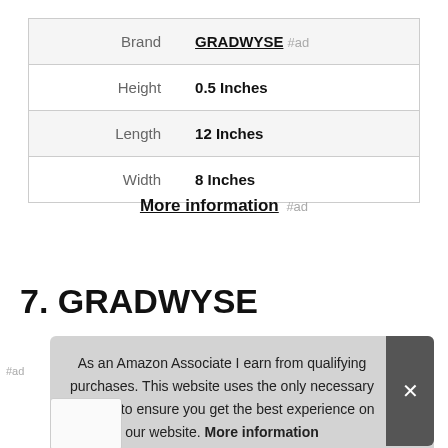| Attribute | Value |
| --- | --- |
| Brand | GRADWYSE #ad |
| Height | 0.5 Inches |
| Length | 12 Inches |
| Width | 8 Inches |
More information #ad
7. GRADWYSE
As an Amazon Associate I earn from qualifying purchases. This website uses the only necessary cookies to ensure you get the best experience on our website. More information